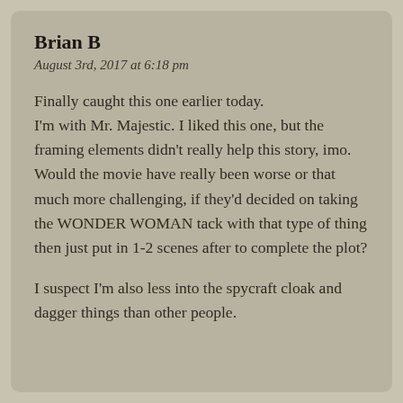Brian B
August 3rd, 2017 at 6:18 pm
Finally caught this one earlier today.
I'm with Mr. Majestic. I liked this one, but the framing elements didn't really help this story, imo. Would the movie have really been worse or that much more challenging, if they'd decided on taking the WONDER WOMAN tack with that type of thing then just put in 1-2 scenes after to complete the plot?
I suspect I'm also less into the spycraft cloak and dagger things than other people.